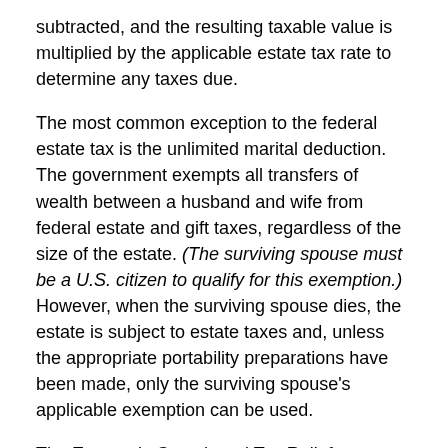subtracted, and the resulting taxable value is multiplied by the applicable estate tax rate to determine any taxes due.
The most common exception to the federal estate tax is the unlimited marital deduction. The government exempts all transfers of wealth between a husband and wife from federal estate and gift taxes, regardless of the size of the estate. (The surviving spouse must be a U.S. citizen to qualify for this exemption.) However, when the surviving spouse dies, the estate is subject to estate taxes and, unless the appropriate portability preparations have been made, only the surviving spouse's applicable exemption can be used.
The Economic Growth and Tax Relief Reconciliation Act of 2001 gradually increased the federal estate tax exemption until finally repealing the federal estate tax altogether for the 2010 tax year only. The 2010 Tax Relief Act reinstated the federal estate tax with a $5 million exemption (indexed for inflation after